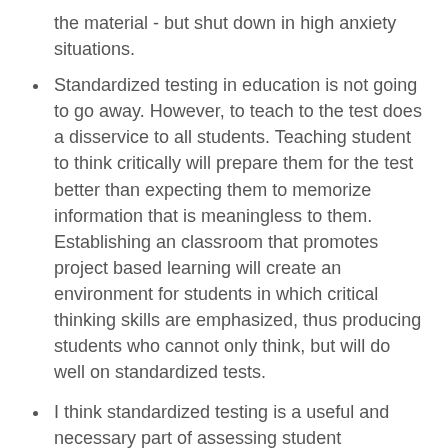the material - but shut down in high anxiety situations.
Standardized testing in education is not going to go away. However, to teach to the test does a disservice to all students. Teaching student to think critically will prepare them for the test better than expecting them to memorize information that is meaningless to them. Establishing an classroom that promotes project based learning will create an environment for students in which critical thinking skills are emphasized, thus producing students who cannot only think, but will do well on standardized tests.
I think standardized testing is a useful and necessary part of assessing student knowledge in the same way that doing a mammogram is key to understanding your health (if you're a woman). Tests that are created for specific purposes and clearly articulated in intent to teachers will not soak up valuable classroom time and can serve